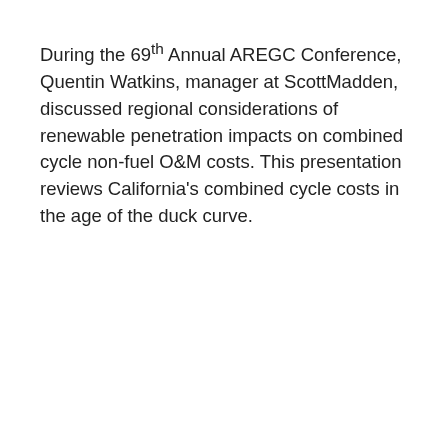During the 69th Annual AREGC Conference, Quentin Watkins, manager at ScottMadden, discussed regional considerations of renewable penetration impacts on combined cycle non-fuel O&M costs. This presentation reviews California's combined cycle costs in the age of the duck curve.